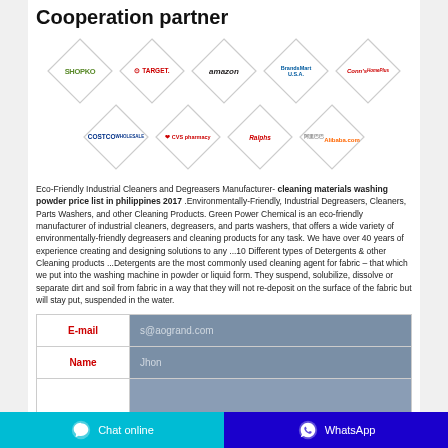Cooperation partner
[Figure (logo): Grid of partner company logos in diamond shapes: Shopko, Target, Amazon, BrandsMart USA, Conn's HomePlus, Costco Wholesale, CVS pharmacy, Ralphs, Alibaba]
Eco-Friendly Industrial Cleaners and Degreasers Manufacturer- cleaning materials washing powder price list in philippines 2017 .Environmentally-Friendly, Industrial Degreasers, Cleaners, Parts Washers, and other Cleaning Products. Green Power Chemical is an eco-friendly manufacturer of industrial cleaners, degreasers, and parts washers, that offers a wide variety of environmentally-friendly degreasers and cleaning products for any task. We have over 40 years of experience creating and designing solutions to any ...10 Different types of Detergents & other Cleaning products ...Detergents are the most commonly used cleaning agent for fabric – that which we put into the washing machine in powder or liquid form. They suspend, solubilize, dissolve or separate dirt and soil from fabric in a way that they will not re-deposit on the surface of the fabric but will stay put, suspended in the water.
| Field | Value |
| --- | --- |
| E-mail | s@aogrand.com |
| Name | Jhon |
Chat online | WhatsApp